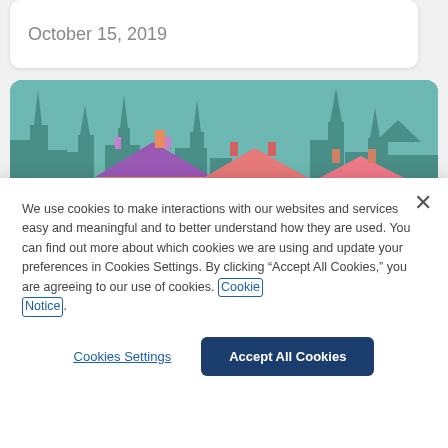October 15, 2019
[Figure (illustration): Colorful illustration of neighborhood houses (pink, orange, red) with a city skyline silhouette in teal/dark teal in the background, and pink trees/bushes in the foreground.]
We use cookies to make interactions with our websites and services easy and meaningful and to better understand how they are used. You can find out more about which cookies we are using and update your preferences in Cookies Settings. By clicking “Accept All Cookies,” you are agreeing to our use of cookies. Cookie Notice.
Cookies Settings
Accept All Cookies